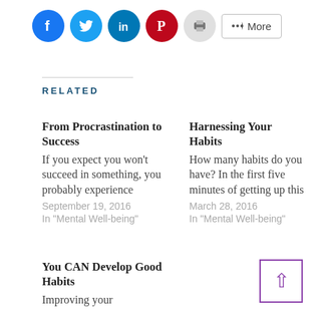[Figure (other): Social sharing buttons: Facebook (blue circle), Twitter (cyan circle), LinkedIn (teal circle), Pinterest (red circle), Print (grey circle), and a More button]
RELATED
From Procrastination to Success
If you expect you won't succeed in something, you probably experience
September 19, 2016
In "Mental Well-being"
Harnessing Your Habits
How many habits do you have? In the first five minutes of getting up this
March 28, 2016
In "Mental Well-being"
You CAN Develop Good Habits
Improving your